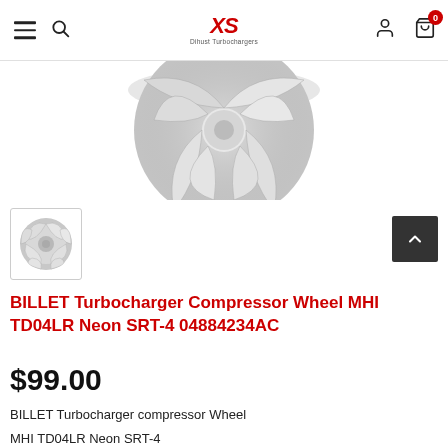XS Dihust Turbochargers navigation bar with hamburger menu, search, logo, user icon, and cart (0)
[Figure (photo): Large silver billet turbocharger compressor wheel, viewed from front, showing curved blades, on white background — partially cropped at top]
[Figure (photo): Small thumbnail of silver billet turbocharger compressor wheel]
BILLET Turbocharger Compressor Wheel MHI TD04LR Neon SRT-4 04884234AC
$99.00
BILLET Turbocharger compressor Wheel
MHI TD04LR Neon SRT-4